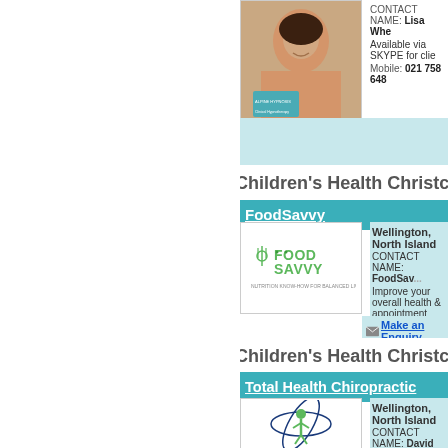[Figure (photo): Partial photo of a woman smiling, with a small business card/logo overlay in bottom-left of image]
CONTACT NAME: Lisa Whe...
Available via SKYPE for clie...
Mobile: 021 758 648
Make an Enquiry
Children's Health Christchurch an...
FoodSavvy
[Figure (logo): FoodSavvy logo - green text reading FOODSAVVY with nutrition tagline below]
Wellington, North Island
CONTACT NAME: FoodSav...
Improve your overall health &...
appointment with our therapi...
Phone: 04 210 9998   Mobile...
Make an Enquiry
Children's Health Christchurch an...
Total Health Chiropractic
[Figure (logo): Total Health Chiropractic logo - figure of a person inside an ellipse/orbit shape in blue and green]
Wellington, North Island
CONTACT NAME: David Co...
Maximise Your Life's Potenti...
Phone: 04 381 2222   Mobile...
Make an Enquiry
Children's Health Christchurch an...
Brooke Coaching